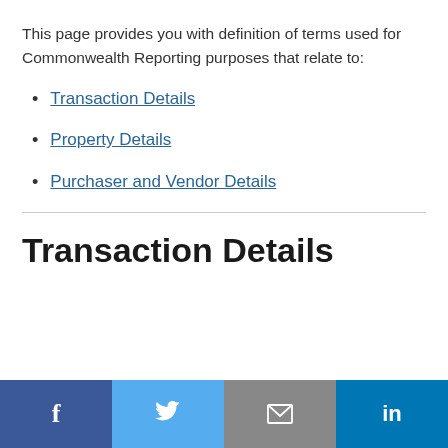This page provides you with definition of terms used for Commonwealth Reporting purposes that relate to:
Transaction Details
Property Details
Purchaser and Vendor Details
Transaction Details
Social share buttons: Facebook, Twitter, Email, LinkedIn